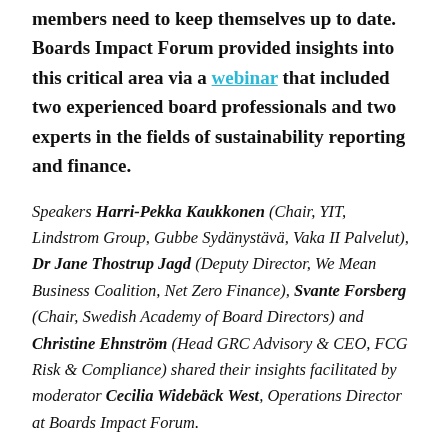members need to keep themselves up to date. Boards Impact Forum provided insights into this critical area via a webinar that included two experienced board professionals and two experts in the fields of sustainability reporting and finance.
Speakers Harri-Pekka Kaukkonen (Chair, YIT, Lindstrom Group, Gubbe Sydänystävä, Vaka II Palvelut), Dr Jane Thostrup Jagd (Deputy Director, We Mean Business Coalition, Net Zero Finance), Svante Forsberg (Chair, Swedish Academy of Board Directors) and Christine Ehnström (Head GRC Advisory & CEO, FCG Risk & Compliance) shared their insights facilitated by moderator Cecilia Widebäck West, Operations Director at Boards Impact Forum.
Many new legislative activities are changing the landscape for investors, financial services providers, and corporates. This can be overwhelming for many. Access to capital is